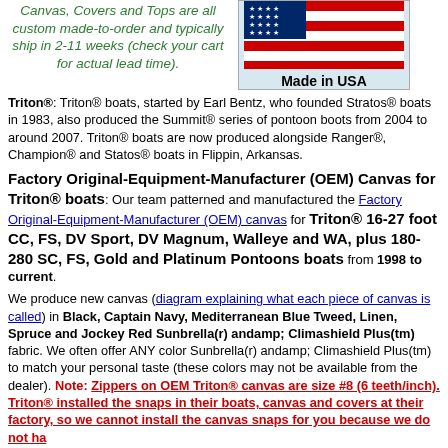Canvas, Covers and Tops are all custom made-to-order and typically ship in 2-11 weeks (check your cart for actual lead time).
[Figure (illustration): Made in USA badge with American flag graphic on light blue background]
Triton®: Triton® boats, started by Earl Bentz, who founded Stratos® boats in 1983, also produced the Summit® series of pontoon boots from 2004 to around 2007. Triton® boats are now produced alongside Ranger®, Champion® and Statos® boats in Flippin, Arkansas.
Factory Original-Equipment-Manufacturer (OEM) Canvas for Triton® boats: Our team patterned and manufactured the Factory Original-Equipment-Manufacturer (OEM) canvas for Triton® 16-27 foot CC, FS, DV Sport, DV Magnum, Walleye and WA, plus 180-280 SC, FS, Gold and Platinum Pontoons boats from 1998 to current.
We produce new canvas (diagram explaining what each piece of canvas is called) in Black, Captain Navy, Mediterranean Blue Tweed, Linen, Spruce and Jockey Red Sunbrella(r) andamp; Climashield Plus(tm) fabric. We often offer ANY color Sunbrella(r) andamp; Climashield Plus(tm) to match your personal taste (these colors may not be available from the dealer). Note: Zippers on OEM Triton® canvas are size #8 (6 teeth/inch). Triton® installed the snaps in their boats, canvas and covers at their factory, so we cannot install the canvas snaps for you because we do not ha